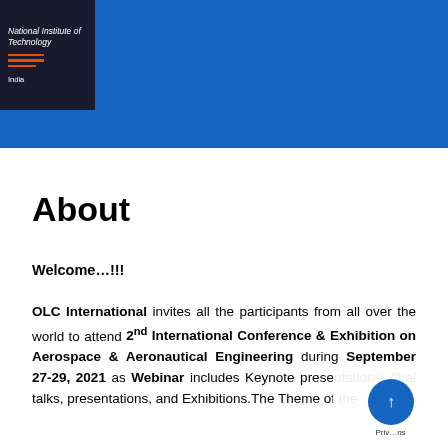National Institute of Technology
India
About
Welcome…!!!
OLC International invites all the participants from all over the world to attend 2nd International Conference & Exhibition on Aerospace & Aeronautical Engineering during September 27-29, 2021 as Webinar includes Keynote presentations, Oral talks, presentations, and Exhibitions.The Theme of the